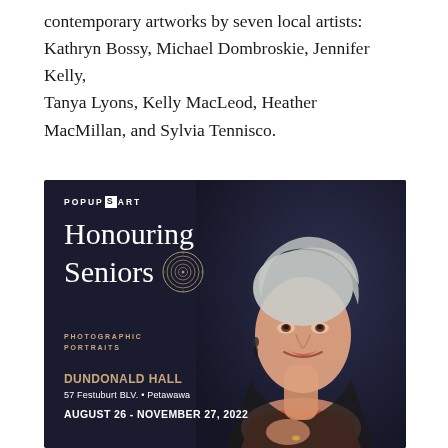contemporary artworks by seven local artists: Kathryn Bossy, Michael Dombroskie, Jennifer Kelly, Tanya Lyons, Kelly MacLeod, Heather MacMillan, and Sylvia Tennisco.
[Figure (photo): Event poster for 'Honouring Seniors Photographic Portraits' at Dundonald Hall, 57 Festuburt BLV., Petawawa, August 26 - November 27, 2022. Features PopUpSArt logo, decorative tree-ring graphic, and a portrait photograph of an elderly smiling woman with white hair wearing a black jacket and orange top, on a dark navy background.]